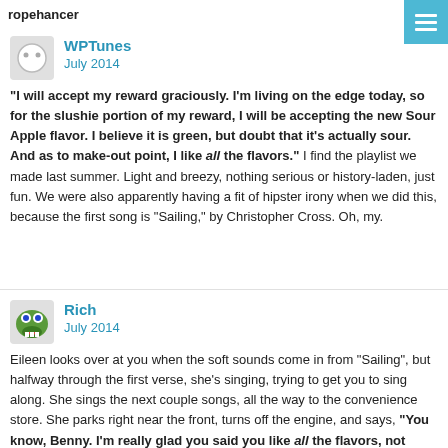ropehancer
WPTunes
July 2014
"I will accept my reward graciously. I'm living on the edge today, so for the slushie portion of my reward, I will be accepting the new Sour Apple flavor. I believe it is green, but doubt that it's actually sour. And as to make-out point, I like all the flavors." I find the playlist we made last summer. Light and breezy, nothing serious or history-laden, just fun. We were also apparently having a fit of hipster irony when we did this, because the first song is "Sailing," by Christopher Cross. Oh, my.
Rich
July 2014
Eileen looks over at you when the soft sounds come in from "Sailing", but halfway through the first verse, she's singing, trying to get you to sing along. She sings the next couple songs, all the way to the convenience store. She parks right near the front, turns off the engine, and says, "You know, Benny. I'm really glad you said you like all the flavors, not some bullshit line about preferring "chocolate"." She's pretty serious when she tells you this, though she's keeping it light.